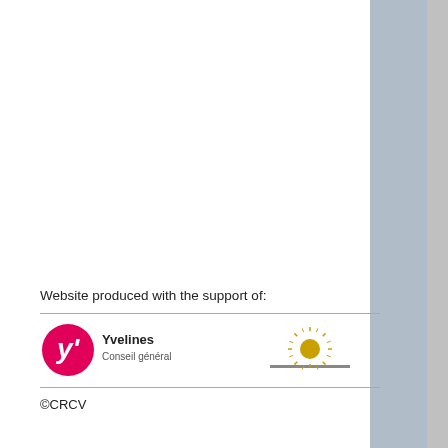pursue with future Place Paris (major the works t
Leaving as year were Louvois dis the provin departmen contributio one might
TO ORD
Éditions du
Newsletter (in
Website produced with the support of:
[Figure (logo): Yvelines Conseil général logo (pink Y symbol with Yvelines text)]
[Figure (logo): Sun/star burst logo on a platform]
©CRCV